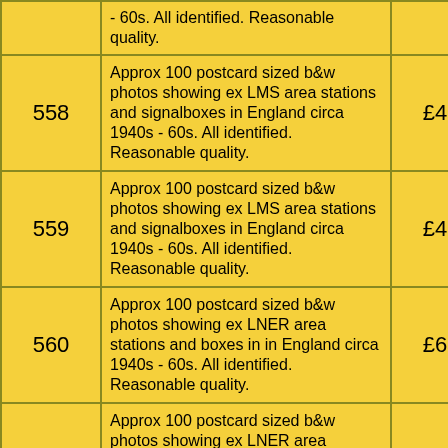| Lot | Description | Price |
| --- | --- | --- |
|  | - 60s. All identified. Reasonable quality. |  |
| 558 | Approx 100 postcard sized b&w photos showing ex LMS area stations and signalboxes in England circa 1940s - 60s. All identified. Reasonable quality. | £46 |
| 559 | Approx 100 postcard sized b&w photos showing ex LMS area stations and signalboxes in England circa 1940s - 60s. All identified. Reasonable quality. | £46 |
| 560 | Approx 100 postcard sized b&w photos showing ex LNER area stations and boxes in in England circa 1940s - 60s. All identified. Reasonable quality. | £65 |
| 561 | Approx 100 postcard sized b&w photos showing ex LNER area stations and boxes in in England circa 1940s - 60s. All identified. Reasonable quality. | £65 |
| 562 | Approx 86 postcard sized b&w photos showing North Staffordshire Railway scenes, mostly stations and signalboxes circa 1920s - 60s. All identified. Reasonable quality. | £65 |
|  | Approx 150 postcard sized b&w photos |  |